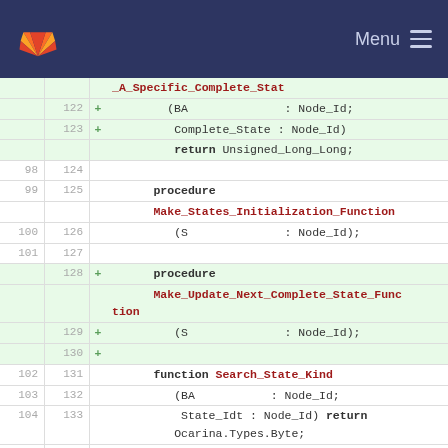Menu
[Figure (screenshot): GitLab code diff view showing Ada procedure and function declarations, with added lines (128-130) highlighted in green. Lines include _A_Specific_Complete_Stat, Make_States_Initialization_Function, Make_Update_Next_Complete_State_Function, and Search_State_Kind functions.]